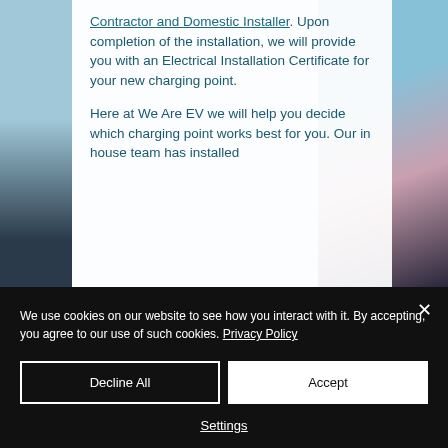[Figure (photo): Background photo of an EV car with blue sky and pink clouds, partially visible on left and right sides behind a white content panel]
Contractor and Domestic Installer. Upon completion of the installation, we will provide you with an Electrical Installation Certificate for your new charging point.

Here at We Are EV we will help you decide which charging point works best for you. Our in house team has installed
We use cookies on our website to see how you interact with it. By accepting, you agree to our use of such cookies. Privacy Policy
Decline All
Accept
Settings